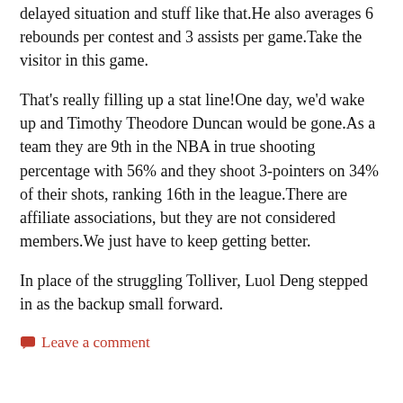delayed situation and stuff like that.He also averages 6 rebounds per contest and 3 assists per game.Take the visitor in this game.
That's really filling up a stat line!One day, we'd wake up and Timothy Theodore Duncan would be gone.As a team they are 9th in the NBA in true shooting percentage with 56% and they shoot 3-pointers on 34% of their shots, ranking 16th in the league.There are affiliate associations, but they are not considered members.We just have to keep getting better.
In place of the struggling Tolliver, Luol Deng stepped in as the backup small forward.
Leave a comment